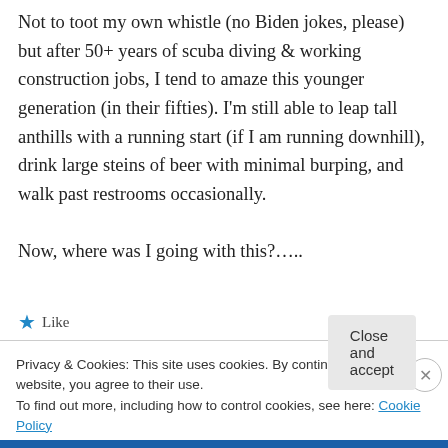Not to toot my own whistle (no Biden jokes, please) but after 50+ years of scuba diving & working construction jobs, I tend to amaze this younger generation (in their fifties). I'm still able to leap tall anthills with a running start (if I am running downhill), drink large steins of beer with minimal burping, and walk past restrooms occasionally.

Now, where was I going with this?…..
★ Like
Privacy & Cookies: This site uses cookies. By continuing to use this website, you agree to their use.
To find out more, including how to control cookies, see here: Cookie Policy
Close and accept